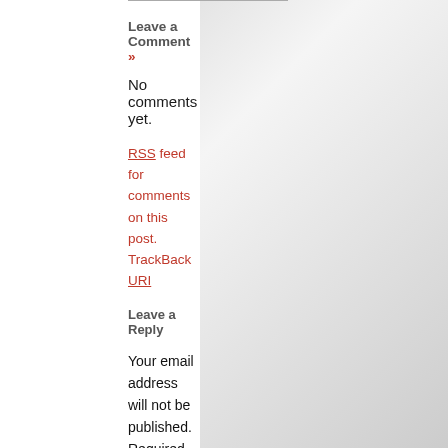Leave a Comment »
No comments yet.
RSS feed for comments on this post.  TrackBack URI
Leave a Reply
Your email address will not be published. Required fields are marked *
[Figure (other): Empty comment text area input box]